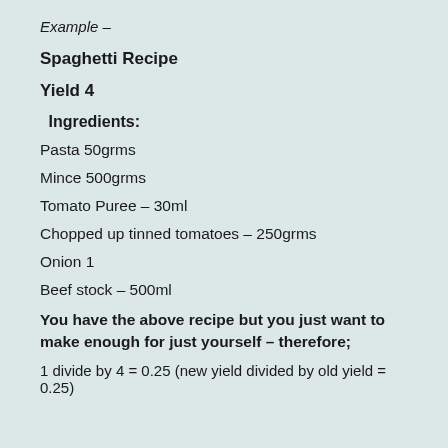Example –
Spaghetti Recipe
Yield 4
Ingredients:
Pasta 50grms
Mince 500grms
Tomato Puree – 30ml
Chopped up tinned tomatoes – 250grms
Onion 1
Beef stock – 500ml
You have the above recipe but you just want to make enough for just yourself – therefore;
1 divide by 4 = 0.25 (new yield divided by old yield = 0.25)